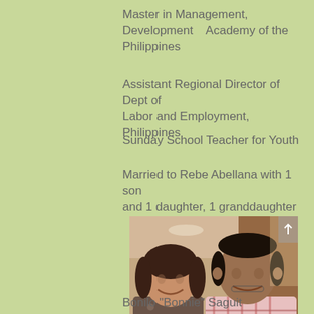Master in Management, Development    Academy of the Philippines
Assistant Regional Director of Dept of Labor and Employment, Philippines
Sunday School Teacher for Youth
Married to Rebe Abellana with 1 son and 1 daughter, 1 granddaughter
[Figure (photo): A smiling couple posing together at what appears to be a formal event or reception. The woman is on the left wearing a patterned blouse, and the man is on the right wearing a pink plaid collared shirt.]
Bonilo "Bonnie" Saguit